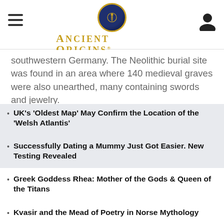Ancient Origins — Reconstructing the Story of Humanity's Past
southwestern Germany. The Neolithic burial site was found in an area where 140 medieval graves were also unearthed, many containing swords and jewelry.
UK's 'Oldest Map' May Confirm the Location of the 'Welsh Atlantis'
Successfully Dating a Mummy Just Got Easier. New Testing Revealed
Greek Goddess Rhea: Mother of the Gods & Queen of the Titans
Kvasir and the Mead of Poetry in Norse Mythology
War Pigs: A Flaming History of Nature's Cutest Creations in Battle
capital caring health Radiographer Jobs in Ashburn Apply Now
iobble.com
MYTHS & LEGENDS